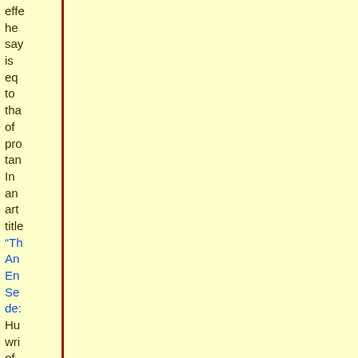effe he say is eq to tha of pro tan In an art title “Th An En Se de: Hu wri of the